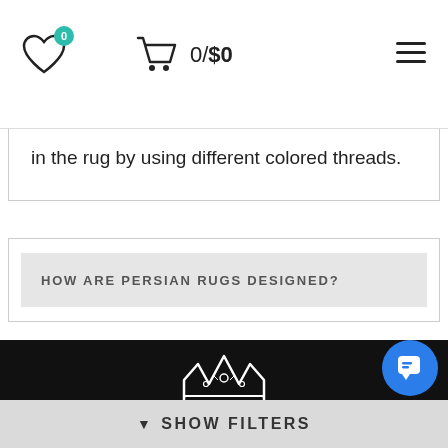0/$0
in the rug by using different colored threads.
HOW ARE PERSIAN RUGS DESIGNED?
[Figure (logo): Rug Source crown logo with text RUG SOURCE on black background]
▼ SHOW FILTERS